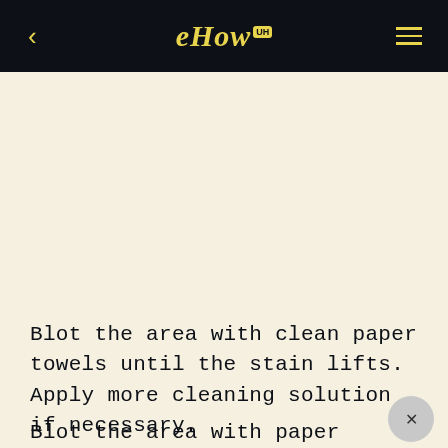eHow UH
Blot the area with clean paper towels until the stain lifts. Apply more cleaning solution if necessary.
Blot the area with paper towels dampened